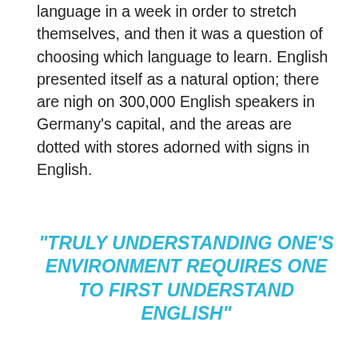language in a week in order to stretch themselves, and then it was a question of choosing which language to learn. English presented itself as a natural option; there are nigh on 300,000 English speakers in Germany's capital, and the areas are dotted with stores adorned with signs in English.
“TRULY UNDERSTANDING ONE’S ENVIRONMENT REQUIRES ONE TO FIRST UNDERSTAND ENGLISH”
The first operational step in the friends learning process was to decorate the entire apartment with sticky notes. This had an almost ceremonial touch to it as the friends delved into dictionaries and proceeded to label everything with its corresponding English name.
Within the space of about an hour it was impossible to carry